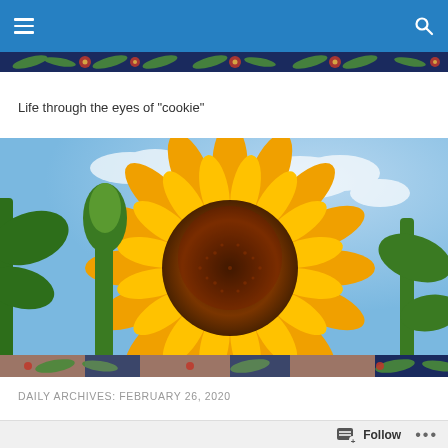Navigation bar with menu icon and search icon
[Figure (illustration): Decorative floral banner strip with dark navy background featuring green fern leaves and red/orange flowers]
Life through the eyes of "cookie"
[Figure (photo): Close-up photograph of a large sunflower in full bloom with orange-yellow petals and a dark reddish-brown center disk, against a partly cloudy blue sky with green leaves and stems visible in the background]
[Figure (illustration): Decorative floral banner strip with peach/salmon background featuring floral pattern]
DAILY ARCHIVES: FEBRUARY 26, 2020
Follow